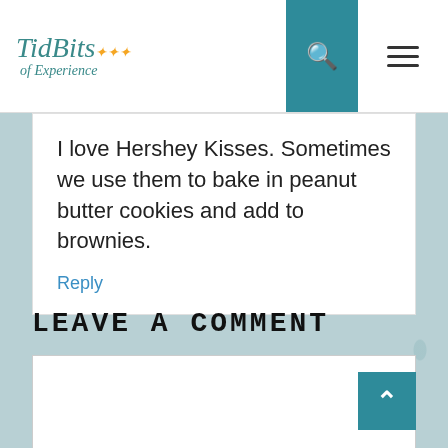TidBits of Experience
I love Hershey Kisses. Sometimes we use them to bake in peanut butter cookies and add to brownies.
Reply
LEAVE A COMMENT